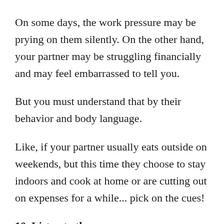On some days, the work pressure may be prying on them silently. On the other hand, your partner may be struggling financially and may feel embarrassed to tell you.
But you must understand that by their behavior and body language.
Like, if your partner usually eats outside on weekends, but this time they choose to stay indoors and cook at home or are cutting out on expenses for a while... pick on the cues!
10. Listen to them